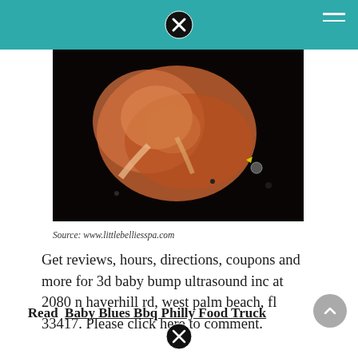[Figure (photo): 3D ultrasound image showing a baby in the womb against a dark background]
Source: www.littlebelliesspa.com
Get reviews, hours, directions, coupons and more for 3d baby bump ultrasound inc at 2080 n haverhill rd, west palm beach, fl 33417. Please click here to comment.
Read  Baby Blues Bbq Philly Food Truck